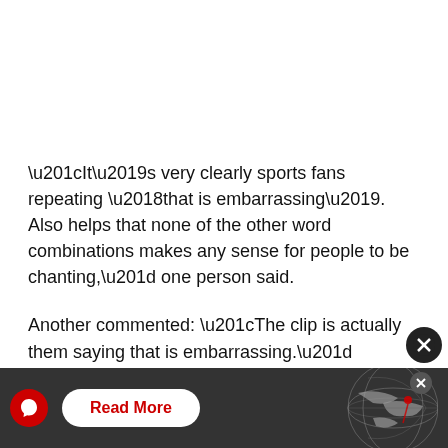“It’s very clearly sports fans repeating ‘that is embarrassing’. Also helps that none of the other word combinations makes any sense for people to be chanting,” one person said.
Another commented: “The clip is actually them saying that is embarrassing.”
The chanting audio clip appears to come from Derby Country fans as it is listed as this on the TikTok.
[Figure (other): Advertisement banner with red bird logo, Read More button in white pill shape, and globe graphic on dark background with close X button]